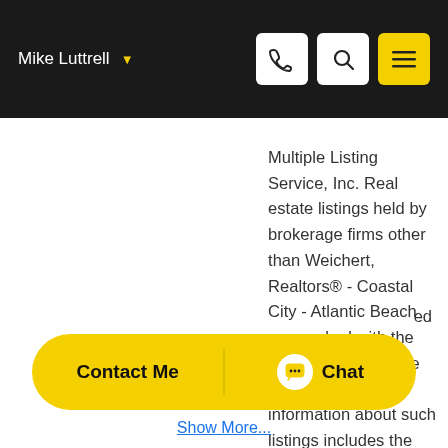Mike Luttrell
Multiple Listing Service, Inc. Real estate listings held by brokerage firms other than Weichert, Realtors® - Coastal City - Atlantic Beach are marked with the listing broker's name and detailed information about such listings includes the name of the listing brokers. Data provided is deemed
Contact Me   Chat
Show More...